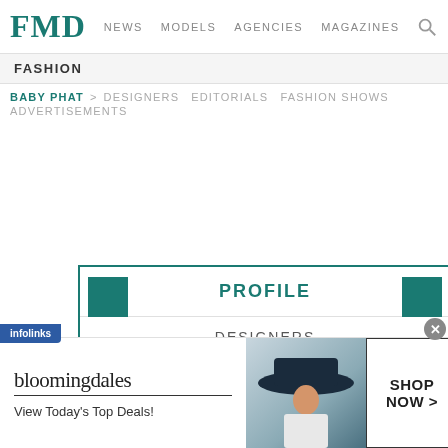FMD  NEWS  MODELS  AGENCIES  MAGAZINES
FASHION
BABY PHAT > DESIGNERS  EDITORIALS  FASHION SHOWS  ADVERTISEMENTS
PROFILE
DESIGNERS
EDITORIALS
[Figure (screenshot): Bloomingdales advertisement banner: 'bloomingdales / View Today's Top Deals!' with a woman in a hat and a SHOP NOW button]
infolinks